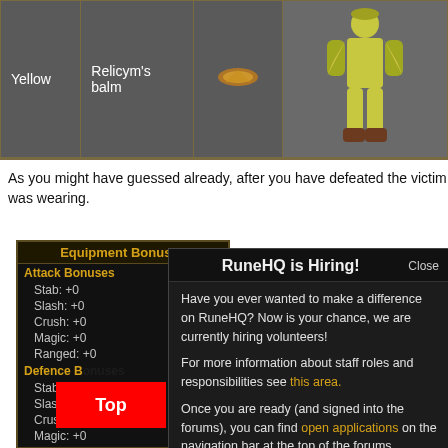| Color | Item | Icon | Character |
| --- | --- | --- | --- |
| Yellow | Relicym's balm | [icon] | [character figure] |
As you might have guessed already, after you have defeated the victim was wearing.
[Figure (screenshot): Equipment Bonuses game UI panel showing Attack Bonuses (Stab: +0, Slash: +0, Crush: +0, Magic: +0, Ranged: +0) and Defence Bonuses (Stab: +0, Slash: +0, Crush: +0, Magic: +0, Ranged: +0) and Other Bonuses (Strength: ?)]
[Figure (screenshot): RuneHQ is Hiring! popup modal with Close button. Text: Have you ever wanted to make a difference on RuneHQ? Now is your chance, we are currently hiring volunteers! For more information about staff roles and responsibilities see this area. Once you are ready (and signed into the forums), you can find open applications on the navigation bar at the top of the forums.]
Top